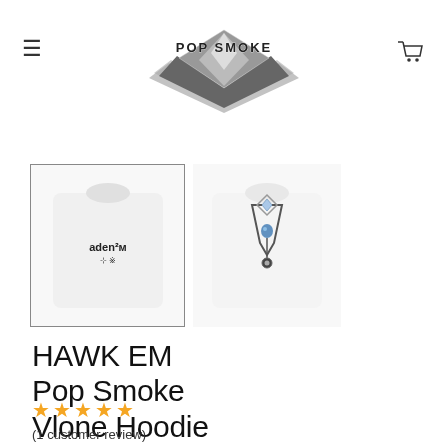Pop Smoke – navigation header with hamburger menu, logo, and cart icon
[Figure (photo): Two product thumbnail images of a white hoodie: left thumbnail shows front with text graphic, right thumbnail shows back with diamond V-shape Vlone graphic. Left thumbnail has a border indicating it is selected.]
HAWK EM Pop Smoke Vlone Hoodie
★★★★★
(1 customer review)